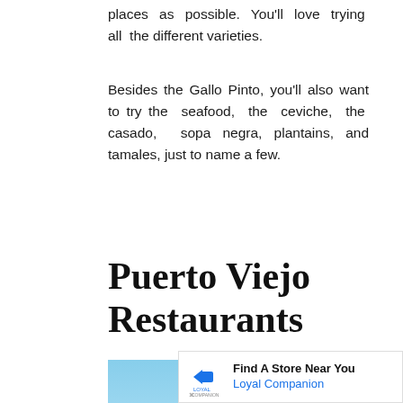places as possible. You'll love trying all the different varieties.
Besides the Gallo Pinto, you'll also want to try the seafood, the ceviche, the casado, sopa negra, plantains, and tamales, just to name a few.
Puerto Viejo Restaurants
[Figure (photo): Outdoor scene with palm trees and a colorful building under a blue sky]
Find A Store Near You Loyal Companion